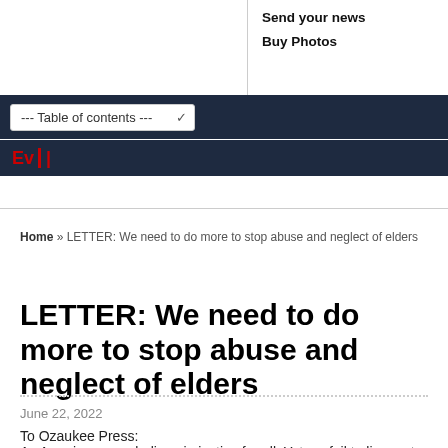Send your news
Buy Photos
--- Table of contents ---
Ev |
Home » LETTER: We need to do more to stop abuse and neglect of elders
LETTER: We need to do more to stop abuse and neglect of elders
June 22, 2022
To Ozaukee Press:
As Americans, we believe in justice for all. Yet we fail to live up to this promise when we allow elder members of our society to